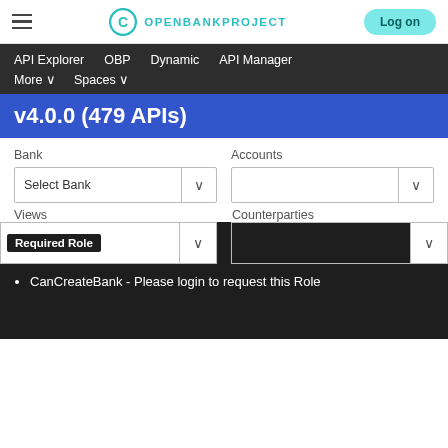OPENBANKPROJECT  Log on
API Explorer   OBP   Dynamic   API Manager   More ∨   Spaces ∨
v4.0.0 (479 APIs)
Bank
Select Bank
Views
Accounts
Counterparties
Required Role
CanCreateBank - Please login to request this Role